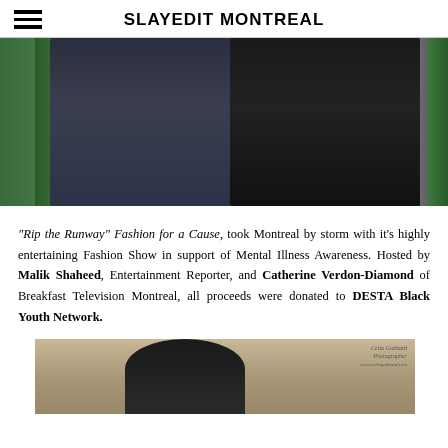SLAYEDIT MONTREAL
[Figure (photo): Two people standing on a runway/stage, one wearing dark navy suit, one wearing black outfit, with green curtains in background]
“Rip the Runway” Fashion for a Cause, took Montreal by storm with it’s highly entertaining Fashion Show in support of Mental Illness Awareness. Hosted by Malik Shaheed, Entertainment Reporter, and Catherine Verdon-Diamond of Breakfast Television Montreal, all proceeds were donated to DESTA Black Youth Network.
[Figure (photo): Person seated, photographed at an event, with Celia Gobbard Photography watermark]